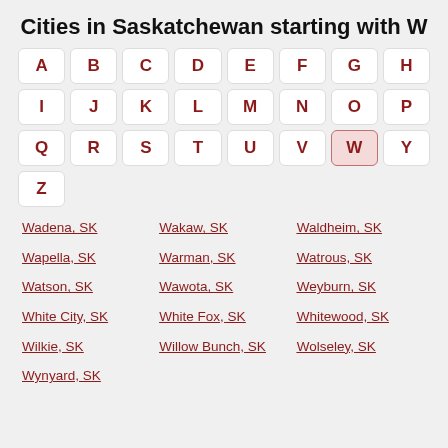Cities in Saskatchewan starting with W
A B C D E F G H I J K L M N O P Q R S T U V W Y Z (alphabet navigation)
Wadena, SK
Wakaw, SK
Waldheim, SK
Wapella, SK
Warman, SK
Watrous, SK
Watson, SK
Wawota, SK
Weyburn, SK
White City, SK
White Fox, SK
Whitewood, SK
Wilkie, SK
Willow Bunch, SK
Wolseley, SK
Wynyard, SK